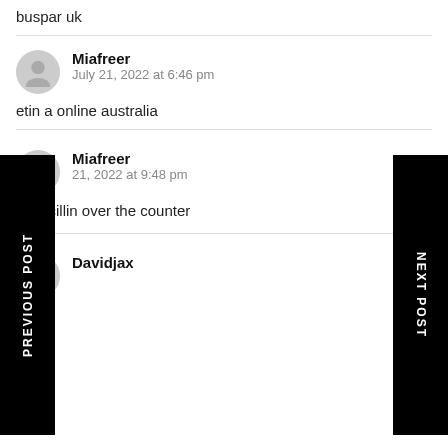buspar uk
Miafreer
July 21, 2022 at 6:46 pm
etin a online australia
Miafreer
21, 2022 at 9:48 pm
ampicillin over the counter
Davidjax